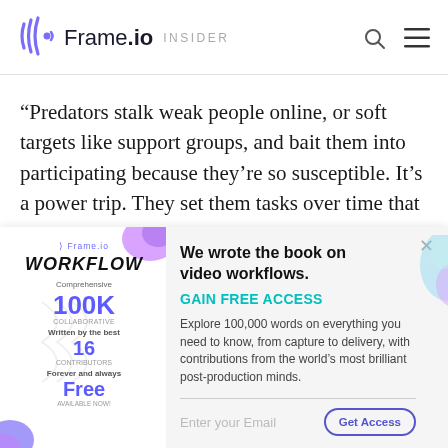Frame.io INSIDER
“Predators stalk weak people online, or soft targets like support groups, and bait them into participating because they’re so susceptible. It’s a power trip. They set them tasks over time that are intended to desensitize them to
[Figure (screenshot): Frame.io Workflow book advertisement popup with email signup. Shows book cover with WORKFLOW title, 100K words, 16 contributors, Free. Headline: We wrote the book on video workflows. GAIN FREE ACCESS. Description: Explore 100,000 words on everything you need to know, from capture to delivery, with contributions from the world's most brilliant post-production minds. Email input and Get Access button.]